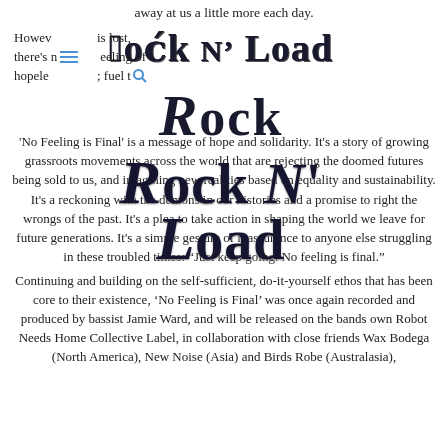away at us a little more each day.
However... is lost, there's n...eeling of hopele...s fuel to
[Figure (logo): Rock N' Load decorative serif logo in dark navy/black]
'No Feeling is Final' is a message of hope and solidarity. It's a story of growing grassroots movements across the world that are rejecting the doomed futures being sold to us, and imagining new realities based on equality and sustainability. It's a reckoning with the demons in our histories and a promise to right the wrongs of the past. It's a plea to take action in shaping the world we leave for future generations. It's a simple gesture of reassurance to anyone else struggling in these troubled times: “Just keep going. No feeling is final.”
Continuing and building on the self-sufficient, do-it-yourself ethos that has been core to their existence, ‘No Feeling is Final’ was once again recorded and produced by bassist Jamie Ward, and will be released on the bands own Robot Needs Home Collective Label, in collaboration with close friends Wax Bodega (North America), New Noise (Asia) and Birds Robe (Australasia),